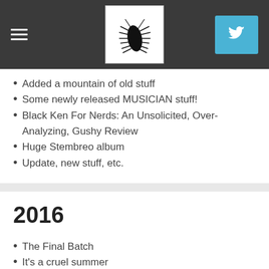Navigation header with hamburger menu, centipede logo, and Twitter button
Added a mountain of old stuff
Some newly released MUSICIAN stuff!
Black Ken For Nerds: An Unsolicited, Over-Analyzing, Gushy Review
Huge Stembreo album
Update, new stuff, etc.
2016
The Final Batch
It's a cruel summer
Late Spring Update
Tour with Sex Funeral and Since
Two new tapes! And Weirdtown2 Fest was a cool time!
Today's Theme is Animal Liberation Stuff
The last one, almost there...